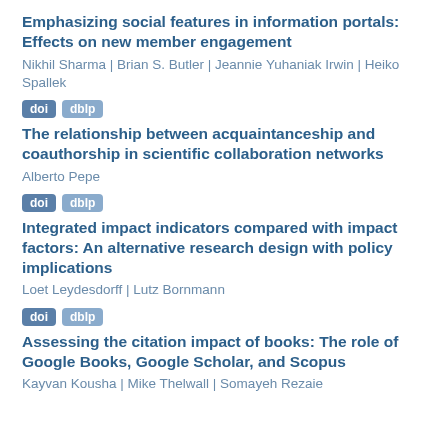Emphasizing social features in information portals: Effects on new member engagement
Nikhil Sharma | Brian S. Butler | Jeannie Yuhaniak Irwin | Heiko Spallek
[Figure (other): doi and dblp badges]
The relationship between acquaintanceship and coauthorship in scientific collaboration networks
Alberto Pepe
[Figure (other): doi and dblp badges]
Integrated impact indicators compared with impact factors: An alternative research design with policy implications
Loet Leydesdorff | Lutz Bornmann
[Figure (other): doi and dblp badges]
Assessing the citation impact of books: The role of Google Books, Google Scholar, and Scopus
Kayvan Kousha | Mike Thelwall | Somayeh Rezaie